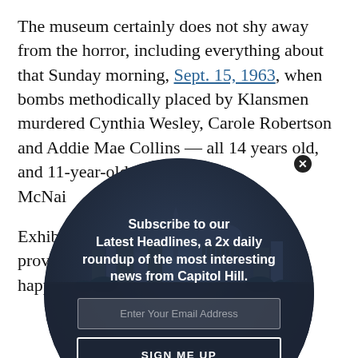The museum certainly does not shy away from the horror, including everything about that Sunday morning, Sept. 15, 1963, when bombs methodically placed by Klansmen murdered Cynthia Wesley, Carole Robertson and Addie Mae Collins — all 14 years old, and 11-year-old Denise McNair at 16th Street Baptist Church.
Exhibits … that proves … happen…
[Figure (screenshot): A circular modal/popup overlay with a dark navy background showing a city skyline silhouette. Contains text 'Subscribe to our Latest Headlines, a 2x daily roundup of the most interesting news from Capitol Hill.' with an email input field, a SIGN ME UP button, and 'No, thanks' link. A close (X) button appears at the top right of the circle.]